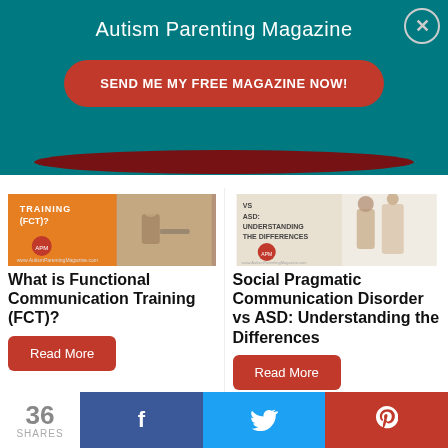Autism Parenting Magazine
SEND ME MY FREE MAGAZINE NOW!
[Figure (photo): Article thumbnail: What is Functional Communication Training (FCT)? - orange background with text and people]
What is Functional Communication Training (FCT)?
Read More
[Figure (photo): Article thumbnail: Social Pragmatic Communication Disorder vs ASD: Understanding the Differences - with text and people]
Social Pragmatic Communication Disorder vs ASD: Understanding the Differences
Read More
36 SHARES